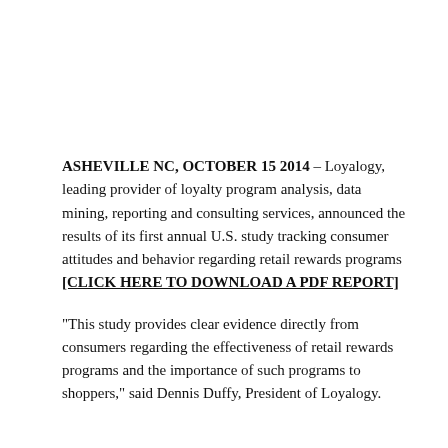ASHEVILLE NC, OCTOBER 15 2014 – Loyalogy, leading provider of loyalty program analysis, data mining, reporting and consulting services, announced the results of its first annual U.S. study tracking consumer attitudes and behavior regarding retail rewards programs [CLICK HERE TO DOWNLOAD A PDF REPORT]
"This study provides clear evidence directly from consumers regarding the effectiveness of retail rewards programs and the importance of such programs to shoppers," said Dennis Duffy, President of Loyalogy.